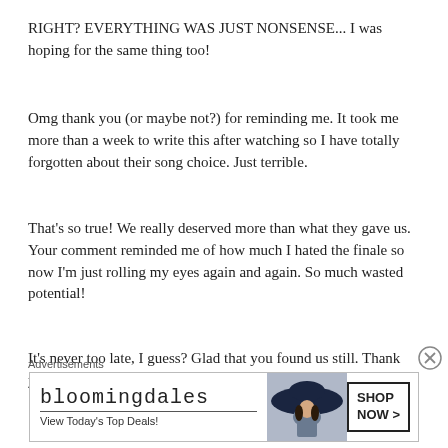RIGHT? EVERYTHING WAS JUST NONSENSE... I was hoping for the same thing too!
Omg thank you (or maybe not?) for reminding me. It took me more than a week to write this after watching so I have totally forgotten about their song choice. Just terrible.
That's so true! We really deserved more than what they gave us. Your comment reminded me of how much I hated the finale so now I'm just rolling my eyes again and again. So much wasted potential!
It's never too late, I guess? Glad that you found us still. Thank you so much! Feel free to keep commenting 🙂
[Figure (screenshot): Bloomingdale's advertisement banner with logo, 'View Today's Top Deals!' tagline, a woman in a wide-brim hat, and a 'SHOP NOW >' button]